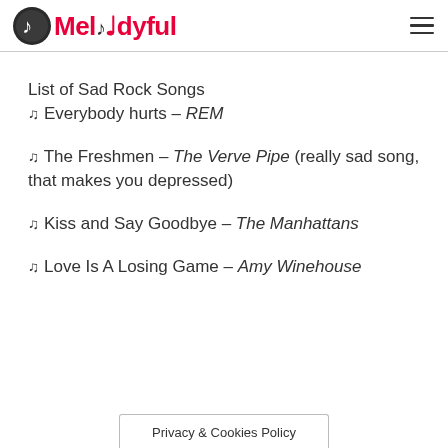Melodyful
List of Sad Rock Songs
♫ Everybody hurts – REM
♫ The Freshmen – The Verve Pipe (really sad song, that makes you depressed)
♫ Kiss and Say Goodbye – The Manhattans
♫ Love Is A Losing Game – Amy Winehouse
Privacy & Cookies Policy